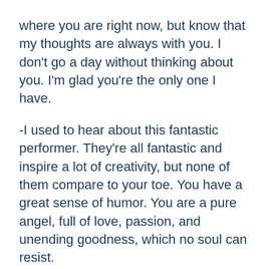where you are right now, but know that my thoughts are always with you. I don't go a day without thinking about you. I'm glad you're the only one I have.
-I used to hear about this fantastic performer. They're all fantastic and inspire a lot of creativity, but none of them compare to your toe. You have a great sense of humor. You are a pure angel, full of love, passion, and unending goodness, which no soul can resist.
-I like the idea that you really are